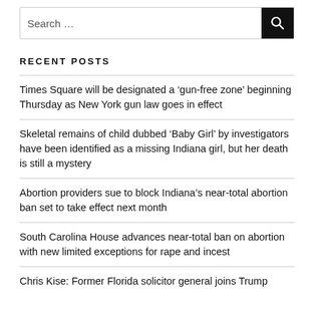[Figure (other): Search bar with text input field reading 'Search …' and a black search button with magnifier icon]
RECENT POSTS
Times Square will be designated a 'gun-free zone' beginning Thursday as New York gun law goes in effect
Skeletal remains of child dubbed 'Baby Girl' by investigators have been identified as a missing Indiana girl, but her death is still a mystery
Abortion providers sue to block Indiana's near-total abortion ban set to take effect next month
South Carolina House advances near-total ban on abortion with new limited exceptions for rape and incest
Chris Kise: Former Florida solicitor general joins Trump